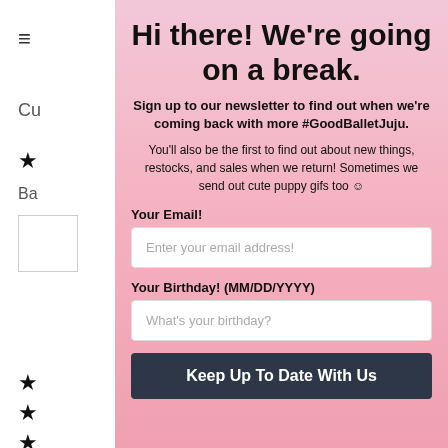Hi there! We're going on a break.
Sign up to our newsletter to find out when we're coming back with more #GoodBalletJuju.
You'll also be the first to find out about new things, restocks, and sales when we return! Sometimes we send out cute puppy gifs too 😊
Your Email!
Enter your email address!
Your Birthday! (MM/DD/YYYY)
What's your birthday?
Keep Up To Date With Us